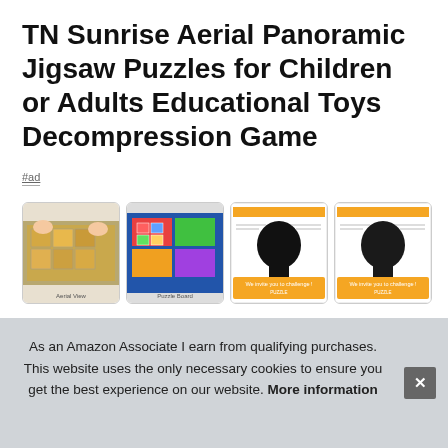TN Sunrise Aerial Panoramic Jigsaw Puzzles for Children or Adults Educational Toys Decompression Game
#ad
[Figure (photo): Four product thumbnail images of jigsaw puzzle products showing aerial views and puzzle packaging]
NBV...
As an Amazon Associate I earn from qualifying purchases. This website uses the only necessary cookies to ensure you get the best experience on our website. More information